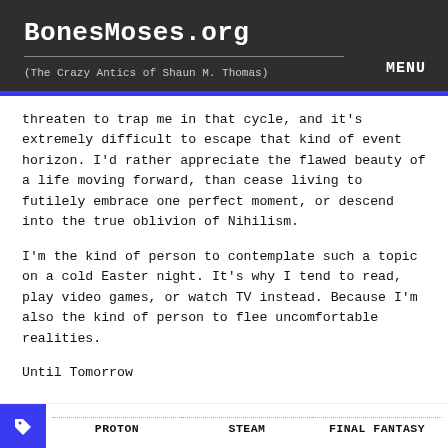BonesMoses.org
(The Crazy Antics of Shaun M. Thomas)
MENU
threaten to trap me in that cycle, and it's extremely difficult to escape that kind of event horizon. I'd rather appreciate the flawed beauty of a life moving forward, than cease living to futilely embrace one perfect moment, or descend into the true oblivion of Nihilism.
I'm the kind of person to contemplate such a topic on a cold Easter night. It's why I tend to read, play video games, or watch TV instead. Because I'm also the kind of person to flee uncomfortable realities.
Until Tomorrow
PROTON   STEAM   FINAL FANTASY